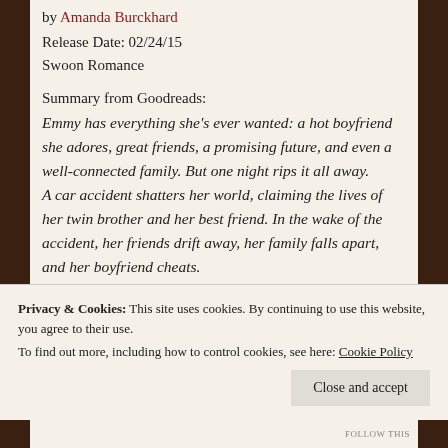by Amanda Burckhard
Release Date: 02/24/15
Swoon Romance
Summary from Goodreads:
Emmy has everything she's ever wanted: a hot boyfriend she adores, great friends, a promising future, and even a well-connected family. But one night rips it all away.
A car accident shatters her world, claiming the lives of her twin brother and her best friend. In the wake of the accident, her friends drift away, her family falls apart, and her boyfriend cheats.
Privacy & Cookies: This site uses cookies. By continuing to use this website, you agree to their use.
To find out more, including how to control cookies, see here: Cookie Policy
Close and accept